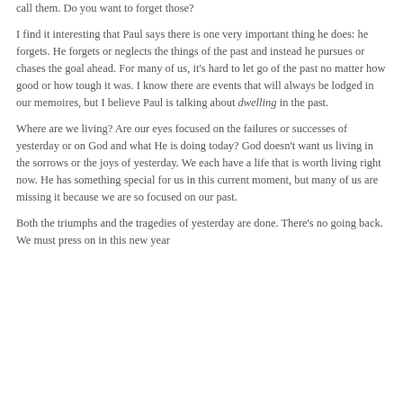call them. Do you want to forget those?
I find it interesting that Paul says there is one very important thing he does: he forgets. He forgets or neglects the things of the past and instead he pursues or chases the goal ahead. For many of us, it’s hard to let go of the past no matter how good or how tough it was. I know there are events that will always be lodged in our memoires, but I believe Paul is talking about dwelling in the past.
Where are we living? Are our eyes focused on the failures or successes of yesterday or on God and what He is doing today? God doesn’t want us living in the sorrows or the joys of yesterday. We each have a life that is worth living right now. He has something special for us in this current moment, but many of us are missing it because we are so focused on our past.
Both the triumphs and the tragedies of yesterday are done. There’s no going back. We must press on in this new year.